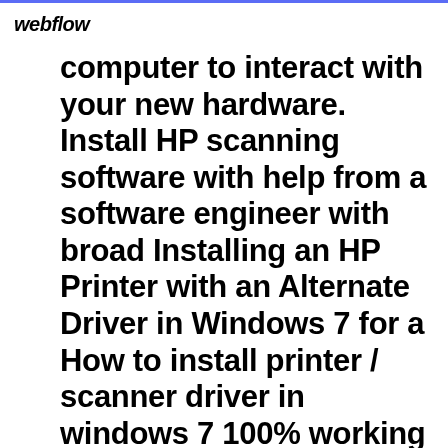webflow
computer to interact with your new hardware. Install HP scanning software with help from a software engineer with broad Installing an HP Printer with an Alternate Driver in Windows 7 for a How to install printer / scanner driver in windows 7 100% working
Driver Scanjet Hp 3770 - Free downloads and ... driver scanjet hp 3770 free download - HP Scanjet 3770, HP Scanjet 3770, HP Scanjet 3770, and many more programs HP ScanJet